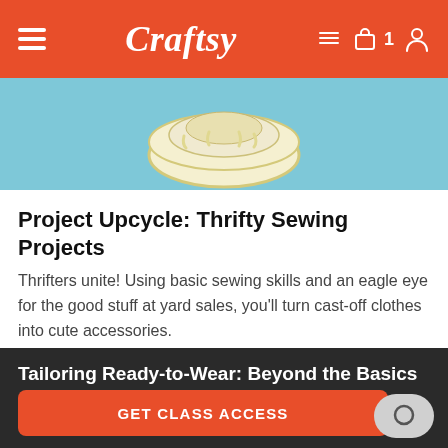Craftsy
[Figure (illustration): Blue banner with a donut/cake illustration in cream and yellow colors on a light blue background]
Project Upcycle: Thrifty Sewing Projects
Thrifters unite! Using basic sewing skills and an eagle eye for the good stuff at yard sales, you'll turn cast-off clothes into cute accessories.
Tailoring Ready-to-Wear: Beyond the Basics
GET CLASS ACCESS